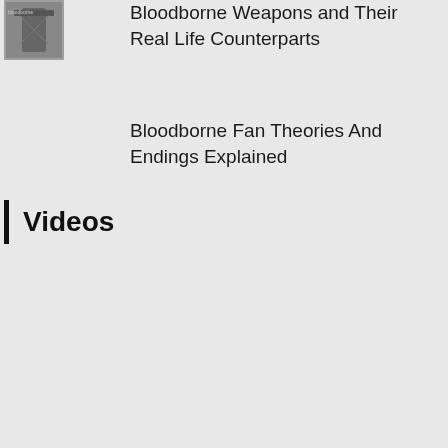[Figure (photo): Small thumbnail image with Bloodborne game art, dark grey toned]
Bloodborne Weapons and Their Real Life Counterparts
Bloodborne Fan Theories And Endings Explained
Videos